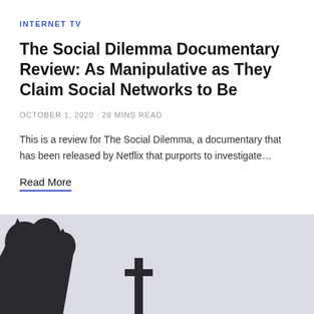INTERNET TV
The Social Dilemma Documentary Review: As Manipulative as They Claim Social Networks to Be
OCTOBER 1, 2020 - 28 MINS READ
This is a review for The Social Dilemma, a documentary that has been released by Netflix that purports to investigate…
Read More
[Figure (photo): Dark silhouette of trees and a cross against a light grey sky background]